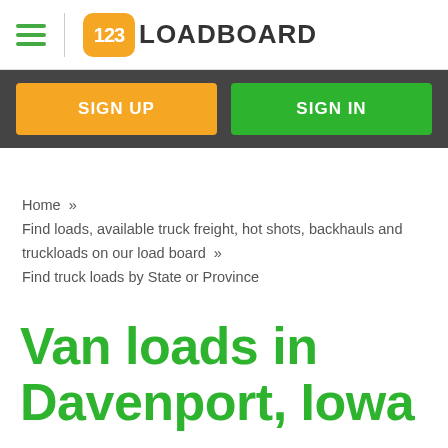[Figure (logo): 123Loadboard logo with orange rounded square containing '123' in white and 'LOADBOARD' text in dark gray]
SIGN UP
SIGN IN
Home  »
Find loads, available truck freight, hot shots, backhauls and truckloads on our load board  »
Find truck loads by State or Province
Van loads in Davenport, Iowa